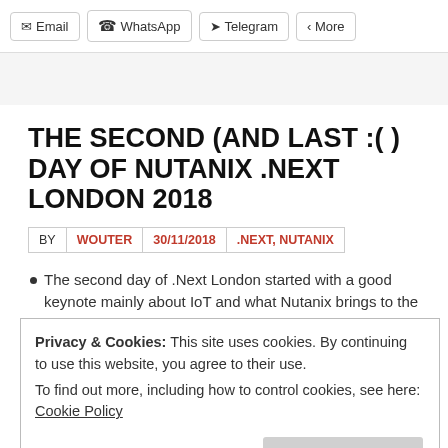Email | WhatsApp | Telegram | More
THE SECOND (AND LAST :( ) DAY OF NUTANIX .NEXT LONDON 2018
BY WOUTER | 30/11/2018 | .NEXT, NUTANIX
The second day of .Next London started with a good keynote mainly about IoT and what Nutanix brings to the
Privacy & Cookies: This site uses cookies. By continuing to use this website, you agree to their use. To find out more, including how to control cookies, see here: Cookie Policy
Close and accept
end of the day. In between there was a really inspirational